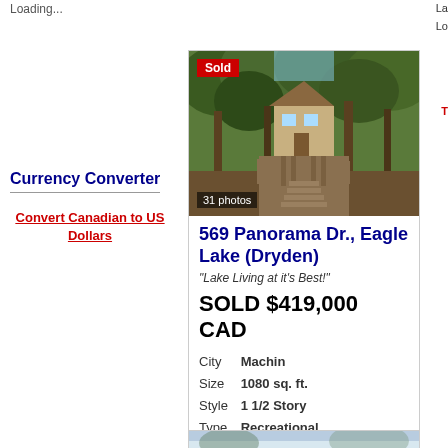Loading...
Currency Converter
Convert Canadian to US Dollars
[Figure (photo): Exterior photo of a cabin/cottage on stilts surrounded by trees with a wooden boardwalk/stairs leading up to it. 'Sold' badge in top-left corner. '31 photos' label at bottom-left.]
569 Panorama Dr., Eagle Lake (Dryden)
"Lake Living at it's Best!"
SOLD  $419,000 CAD
City  Machin
Size  1080 sq. ft.
Style  1 1/2 Story
Type  Recreational
Request More Info
[Figure (photo): Partial view of a second property listing photo showing sky and trees.]